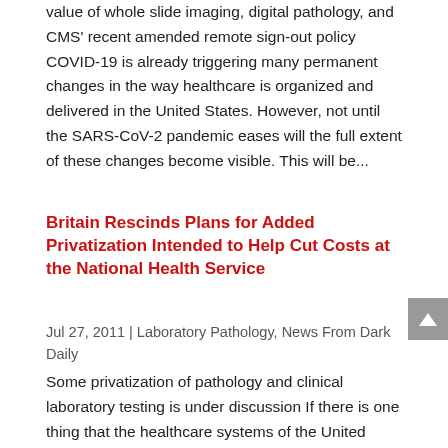value of whole slide imaging, digital pathology, and CMS' recent amended remote sign-out policy COVID-19 is already triggering many permanent changes in the way healthcare is organized and delivered in the United States. However, not until the SARS-CoV-2 pandemic eases will the full extent of these changes become visible. This will be...
Britain Rescinds Plans for Added Privatization Intended to Help Cut Costs at the National Health Service
Jul 27, 2011 | Laboratory Pathology, News From Dark Daily
Some privatization of pathology and clinical laboratory testing is under discussion If there is one thing that the healthcare systems of the United States and the United Kingdom share in common, it is the respective budget